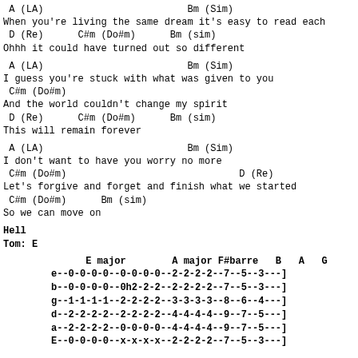A (LA)                         Bm (Sim)
When you're living the same dream it's easy to read each
 D (Re)      C#m (Do#m)      Bm (sim)
Ohhh it could have turned out so different
A (LA)                         Bm (Sim)
I guess you're stuck with what was given to you
 C#m (Do#m)
And the world couldn't change my spirit
 D (Re)      C#m (Do#m)      Bm (sim)
This will remain forever
A (LA)                         Bm (Sim)
I don't want to have you worry no more
 C#m (Do#m)                              D (Re)
Let's forgive and forget and finish what we started
 C#m (Do#m)      Bm (sim)
So we can move on
Hell
Tom: E
E major        A major F#barre   B   A   G      ba
e--0-0-0-0--0-0-0-0--2-2-2-2--7--5--3---]
b--0-0-0-0--0h2-2-2--2-2-2-2--7--5--3---]
g--1-1-1-1--2-2-2-2--3-3-3-3--8--6--4---]
d--2-2-2-2--2-2-2-2--4-4-4-4--9--7--5---]
a--2-2-2-2--0-0-0-0--4-4-4-4--9--7--5---]
E--0-0-0-0--x-x-x-x--2-2-2-2--7--5--3---]